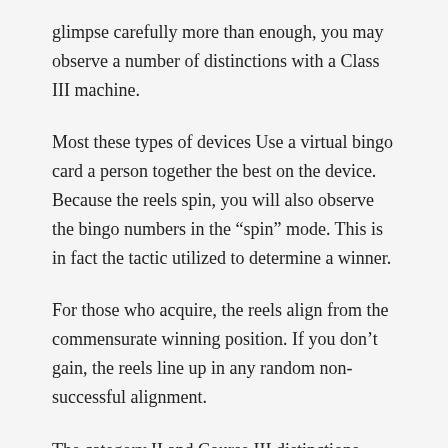glimpse carefully more than enough, you may observe a number of distinctions with a Class III machine.
Most these types of devices Use a virtual bingo card a person together the best on the device. Because the reels spin, you will also observe the bingo numbers in the “spin” mode. This is in fact the tactic utilized to determine a winner.
For those who acquire, the reels align from the commensurate winning position. If you don’t gain, the reels line up in any random non-successful alignment.
The category II and Course III distinctions highlight the hypocrisy of certain gaming jurisdictions. A slot